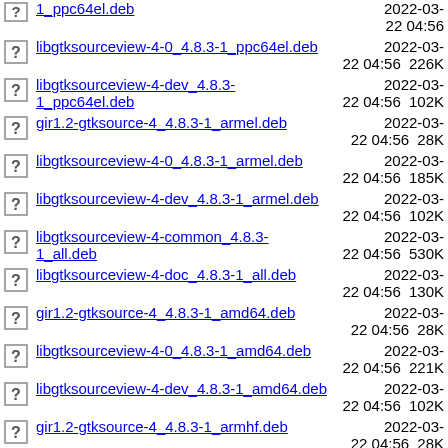1_ppc64el.deb  2022-03-22 04:56  226K
libgtksourceview-4-0_4.8.3-1_ppc64el.deb  2022-03-22 04:56  226K
libgtksourceview-4-dev_4.8.3-1_ppc64el.deb  2022-03-22 04:56  102K
gir1.2-gtksource-4_4.8.3-1_armel.deb  2022-03-22 04:56  28K
libgtksourceview-4-0_4.8.3-1_armel.deb  2022-03-22 04:56  185K
libgtksourceview-4-dev_4.8.3-1_armel.deb  2022-03-22 04:56  102K
libgtksourceview-4-common_4.8.3-1_all.deb  2022-03-22 04:56  530K
libgtksourceview-4-doc_4.8.3-1_all.deb  2022-03-22 04:56  130K
gir1.2-gtksource-4_4.8.3-1_amd64.deb  2022-03-22 04:56  28K
libgtksourceview-4-0_4.8.3-1_amd64.deb  2022-03-22 04:56  221K
libgtksourceview-4-dev_4.8.3-1_amd64.deb  2022-03-22 04:56  102K
gir1.2-gtksource-4_4.8.3-1_armhf.deb  2022-03-22 04:56  28K